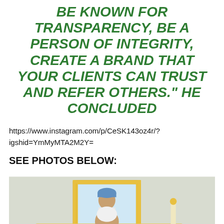BE KNOWN FOR TRANSPARENCY, BE A PERSON OF INTEGRITY, CREATE A BRAND THAT YOUR CLIENTS CAN TRUST AND REFER OTHERS." HE CONCLUDED
https://www.instagram.com/p/CeSK143oz4r/?igshid=YmMyMTA2M2Y=
SEE PHOTOS BELOW:
[Figure (photo): A person in traditional white Nigerian/Yoruba attire seated on an ornate white and gold chair. Behind them on the wall is a gold-framed portrait photograph of a man in a blue traditional cap and white outfit holding something. The setting appears to be an elaborate, decorated room.]